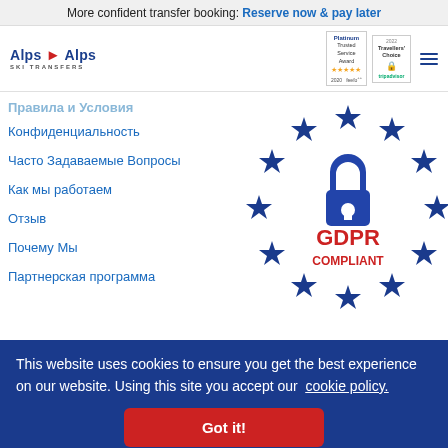More confident transfer booking: Reserve now & pay later
[Figure (logo): Alps 2 Alps Ski Transfers logo with red arrow, plus Platinum Trusted Service Award feefo 2020 badge and TripAdvisor Travelers Choice badge]
Правила и Условия
Конфиденциальность
Часто Задаваемые Вопросы
Как мы работаем
Отзыв
Почему Мы
Партнерская программа
[Figure (illustration): GDPR Compliant badge: circle of blue stars with a padlock icon inside, text GDPR COMPLIANT in red]
This website uses cookies to ensure you get the best experience on our website. Using this site you accept our cookie policy.
Got it!